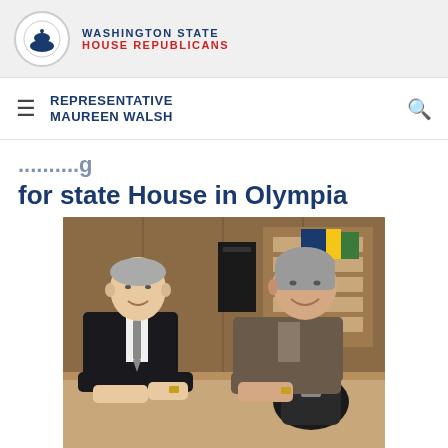Washington State House Republicans
REPRESENTATIVE MAUREEN WALSH
for state House in Olympia
[Figure (photo): Two people, a man in a dark suit with a tie and a woman in a brown/grey blazer, smiling and leaning on a counter in an office setting. Shelving and a computer are visible in the background.]
FEB. 17, 2014
NEWS ITEM